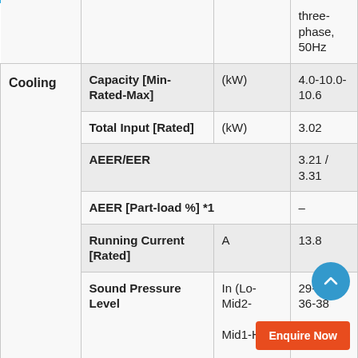| Category | Parameter | Unit | Value |
| --- | --- | --- | --- |
|  |  |  | three-phase, 50Hz |
| Cooling | Capacity [Min-Rated-Max] | (kW) | 4.0-10.0-10.6 |
|  | Total Input [Rated] | (kW) | 3.02 |
|  | AEER/EER |  | 3.21 / 3.31 |
|  | AEER [Part-load %] *1 |  | – |
|  | Running Current [Rated] | A | 13.8 |
|  | Sound Pressure Level | In (Lo-Mid2-Mid1-Hi) | 29-32-36-38 |